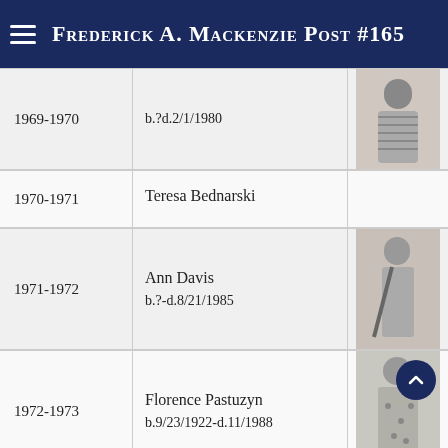Frederick A. Mackenzie Post #165
| Year | Name | Photo |
| --- | --- | --- |
| 1969-1970 | b.?d.2/1/1980 | [photo] |
| 1970-1971 | Teresa Bednarski |  |
| 1971-1972 | Ann Davis
b.?-d.8/21/1985 | [photo] |
| 1972-1973 | Florence Pastuzyn
b.9/23/1922-d.11/1988 | [photo] |
|  | Pauline Barry | [photo] |